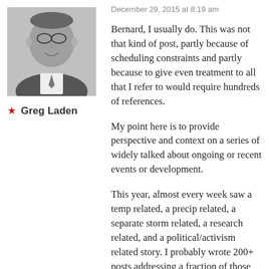[Figure (photo): Black and white photo of a man wearing glasses and smiling, in formal attire]
★ Greg Laden
December 29, 2015 at 8:19 am
Bernard, I usually do. This was not that kind of post, partly because of scheduling constraints and partly because to give even treatment to all that I refer to would require hundreds of references.
My point here is to provide perspective and context on a series of widely talked about ongoing or recent events or development.
This year, almost every week saw a temp related, a precip related, a separate storm related, a research related, and a political/activism related story. I probably wrote 200+ posts addressing a fraction of those issues this year (see the subject indes on the side bar).